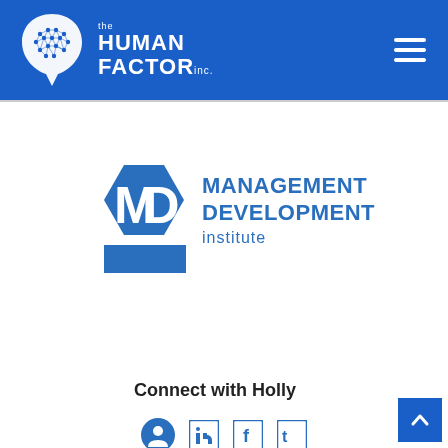[Figure (logo): The Human Factor Inc. logo — white brain icon with hexagonal network pattern and white text reading 'the HUMAN FACTOR inc.' on a blue background, with a hamburger menu icon on the right]
[Figure (logo): MDi Management Development Institute logo — blue hexagonal shape with 'MDi' text and blue text reading 'MANAGEMENT DEVELOPMENT institute']
Connect with Holly
[Figure (illustration): Social media icons row — person/profile icon and three social media icons in blue]